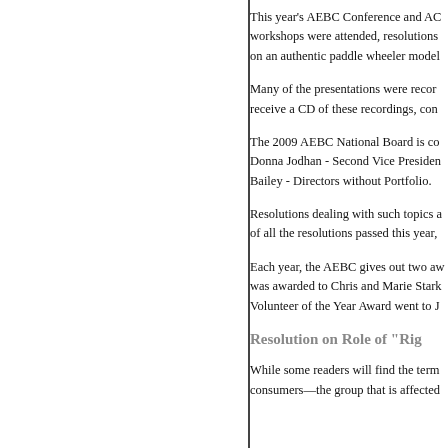This year's AEBC Conference and AGM workshops were attended, resolutions on an authentic paddle wheeler model
Many of the presentations were recorded to receive a CD of these recordings, con
The 2009 AEBC National Board is co Donna Jodhan - Second Vice Presiden Bailey - Directors without Portfolio.
Resolutions dealing with such topics a of all the resolutions passed this year,
Each year, the AEBC gives out two aw was awarded to Chris and Marie Stark Volunteer of the Year Award went to J
Resolution on Role of "Rig
While some readers will find the term consumers—the group that is affected